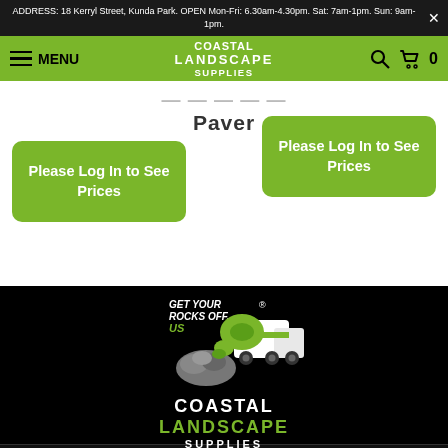ADDRESS: 18 Kerryl Street, Kunda Park. OPEN Mon-Fri: 6.30am-4.30pm. Sat: 7am-1pm. Sun: 9am-1pm.
[Figure (logo): Coastal Landscape Supplies logo with menu, search, and cart icons on green navbar]
Paver
Please Log In to See Prices
Please Log In to See Prices
[Figure (logo): Coastal Landscape Supplies footer logo with truck and rocks illustration, tagline Get Your Rocks Off... US]
About